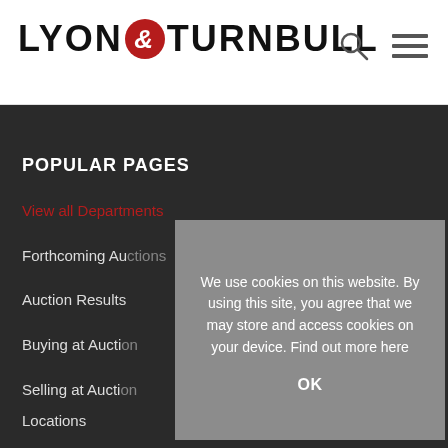[Figure (logo): Lyon & Turnbull logo with red circle ampersand]
[Figure (other): Search icon and hamburger menu icon in header]
POPULAR PAGES
View all Departments
Forthcoming Au...
Auction Results
Buying at Aucti...
Selling at Aucti...
Locations
Specialist Direc...
We use cookies on this website. By using this site, you agree that we may store and access cookies on your device. Find out more here
OK